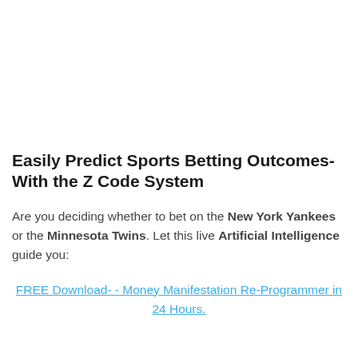Easily Predict Sports Betting Outcomes- With the Z Code System
Are you deciding whether to bet on the New York Yankees or the Minnesota Twins. Let this live Artificial Intelligence guide you:
FREE Download- - Money Manifestation Re-Programmer in 24 Hours.